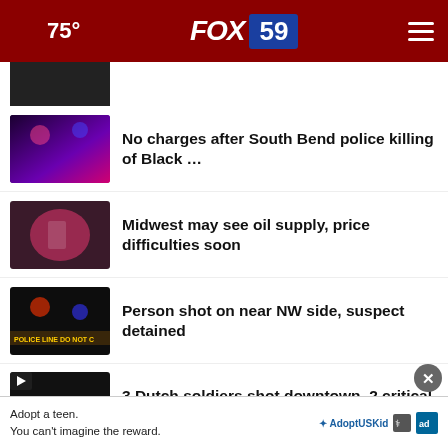75° FOX 59
[Figure (screenshot): Partial news thumbnail at top, cropped]
No charges after South Bend police killing of Black …
Midwest may see oil supply, price difficulties soon
Person shot on near NW side, suspect detained
3 Dutch soldiers shot downtown, 2 critical condition
Community honors heroes lost in Kabul one year ago
Ofc. Shabnayaz …  r of
Adopt a teen. You can't imagine the reward.